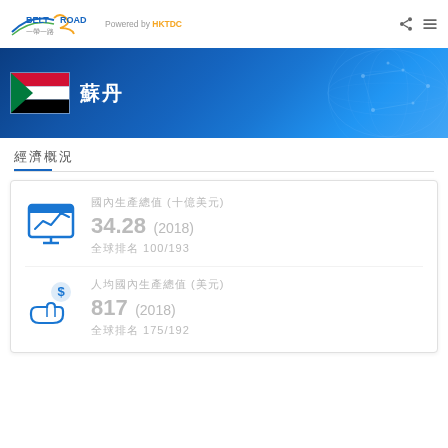BELT ROAD 一帶一路 Powered by HKTDC
[Figure (illustration): Sudan country banner with flag and globe network background]
經濟概況
國內生產總值 (十億美元)
34.28 (2018)
全球排名 100/193
人均國內生產總值 (美元)
817 (2018)
全球排名 175/192